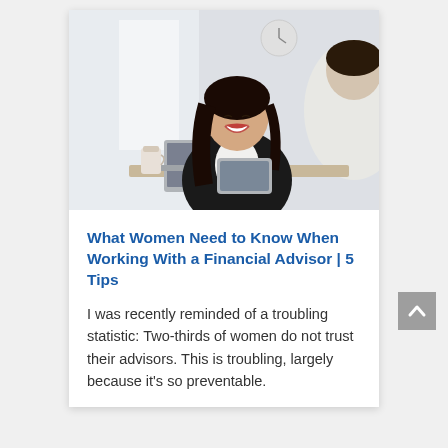[Figure (photo): A smiling Asian woman financial advisor in a black blazer holding a tablet, sitting across from a client (seen from behind in white top), with a laptop and coffee cup on the table, bright office background.]
What Women Need to Know When Working With a Financial Advisor | 5 Tips
I was recently reminded of a troubling statistic: Two-thirds of women do not trust their advisors. This is troubling, largely because it's so preventable.